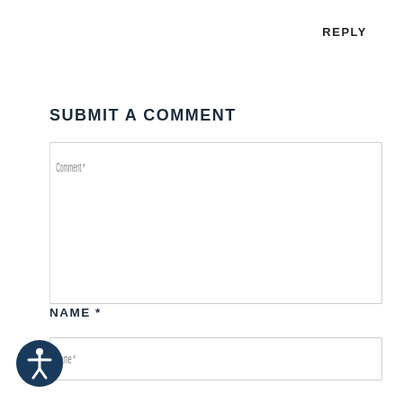REPLY
SUBMIT A COMMENT
Comment *
NAME *
Name *
[Figure (illustration): Accessibility icon: dark navy blue circle with white person/human figure with outstretched arms, accessibility symbol]